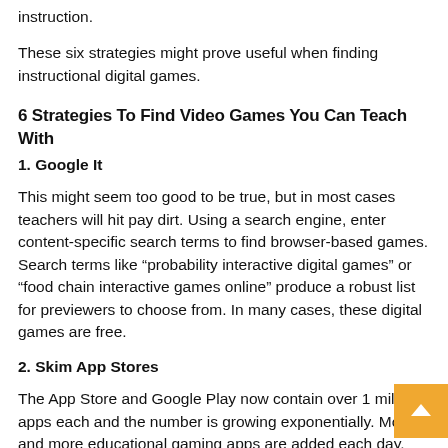instruction.
These six strategies might prove useful when finding instructional digital games.
6 Strategies To Find Video Games You Can Teach With
1. Google It
This might seem too good to be true, but in most cases teachers will hit pay dirt. Using a search engine, enter content-specific search terms to find browser-based games. Search terms like “probability interactive digital games” or “food chain interactive games online” produce a robust list for previewers to choose from. In many cases, these digital games are free.
2. Skim App Stores
The App Store and Google Play now contain over 1 million apps each and the number is growing exponentially. More and more educational gaming apps are added each day. With BYOD initiatives and the popularity of tablets in schools, this strategy can provide